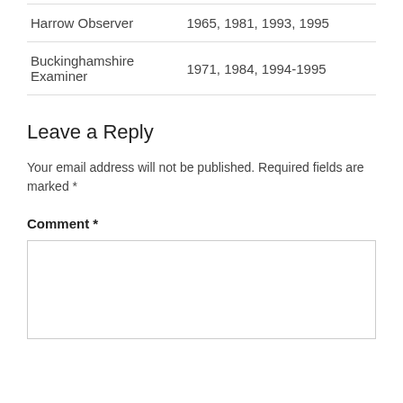| Publication | Years |
| --- | --- |
| Harrow Observer | 1965, 1981, 1993, 1995 |
| Buckinghamshire Examiner | 1971, 1984, 1994-1995 |
Leave a Reply
Your email address will not be published. Required fields are marked *
Comment *